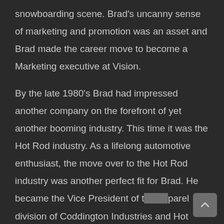snowboarding scene. Brad's uncanny sense of marketing and promotion was an asset and Brad made the career move to become a Marketing executive at Vision.
By the late 1980's Brad had impressed another company on the forefront of yet another booming industry. This time it was the Hot Rod industry. As a lifelong automotive enthusiast, the move over to the Hot Rod industry was another perfect fit for Brad. He became the Vice President of the apparel division of Coddington Industries and Hot Rod's by